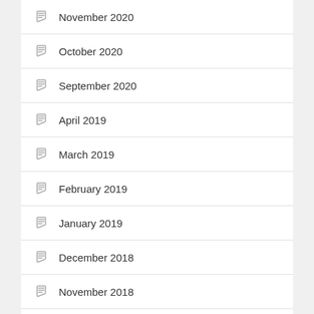November 2020
October 2020
September 2020
April 2019
March 2019
February 2019
January 2019
December 2018
November 2018